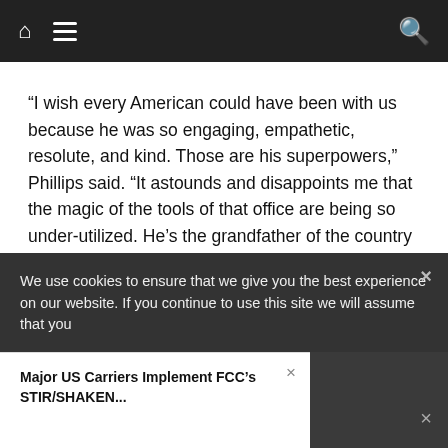Navigation bar with home icon, hamburger menu, and search icon
“I wish every American could have been with us because he was so engaging, empathetic, resolute, and kind. Those are his superpowers,” Phillips said. “It astounds and disappoints me that the magic of the tools of that office are being so under-utilized. He’s the grandfather of the country at a time we need one more than ever. He should be giving fireside chats, speaking to — and hearing from — Americans directly about their concerns and anxieties. He has so much more to offer America than he has been able to share,
We use cookies to ensure that we give you the best experience on our website. If you continue to use this site we will assume that you
Major US Carriers Implement FCC’s STIR/SHAKEN...